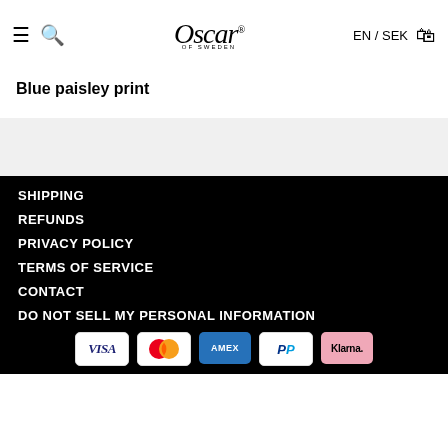Blue paisley print — Oscar of Sweden EN / SEK
Blue paisley print
SHIPPING
REFUNDS
PRIVACY POLICY
TERMS OF SERVICE
CONTACT
DO NOT SELL MY PERSONAL INFORMATION
[Figure (logo): Payment method logos: VISA, Mastercard, AMEX, PayPal, Klarna]